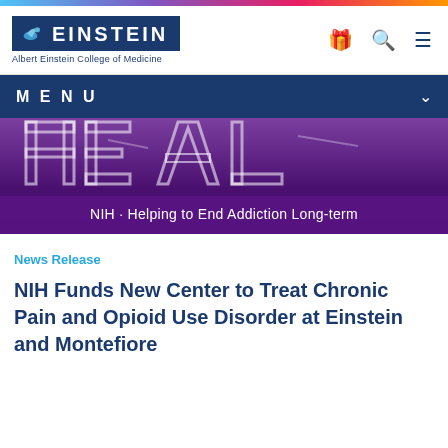[Figure (logo): Albert Einstein College of Medicine logo with blue box and bird icon, text EINSTEIN, tagline Albert Einstein College of Medicine]
Menu
[Figure (illustration): HEAL banner — NIH Helping to End Addiction Long-term. Large stylized HEAL letters with hands reaching on purple gradient background. Subtitle: NIH · Helping to End Addiction Long-term]
News Release
NIH Funds New Center to Treat Chronic Pain and Opioid Use Disorder at Einstein and Montefiore